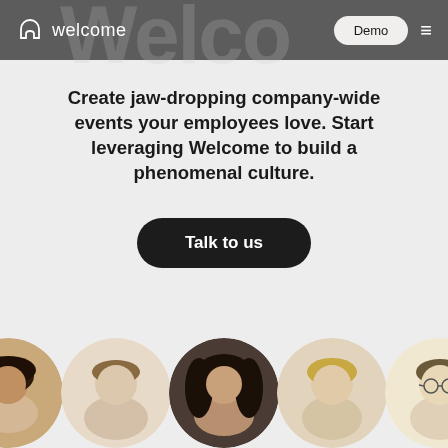welcome | Demo | ≡
Create jaw-dropping company-wide events your employees love. Start leveraging Welcome to build a phenomenal culture.
Talk to us
[Figure (photo): Row of five circular-cropped portrait photos of diverse people at the bottom of the page]